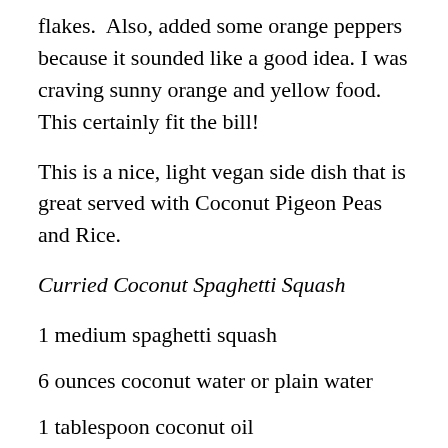flakes.  Also, added some orange peppers because it sounded like a good idea. I was craving sunny orange and yellow food. This certainly fit the bill!
This is a nice, light vegan side dish that is great served with Coconut Pigeon Peas and Rice.
Curried Coconut Spaghetti Squash
1 medium spaghetti squash
6 ounces coconut water or plain water
1 tablespoon coconut oil
½ a medium-large onion, chopped (or 2 large shallots)
3 cloves garlic, chopped
2 teaspoons fresh ginger, minced